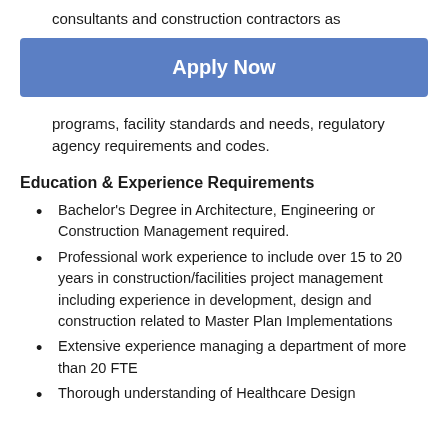consultants and construction contractors as
[Figure (other): Apply Now button - blue rounded rectangle with white bold text]
programs, facility standards and needs, regulatory agency requirements and codes.
Education & Experience Requirements
Bachelor's Degree in Architecture, Engineering or Construction Management required.
Professional work experience to include over 15 to 20 years in construction/facilities project management including experience in development, design and construction related to Master Plan Implementations
Extensive experience managing a department of more than 20 FTE
Thorough understanding of Healthcare Design